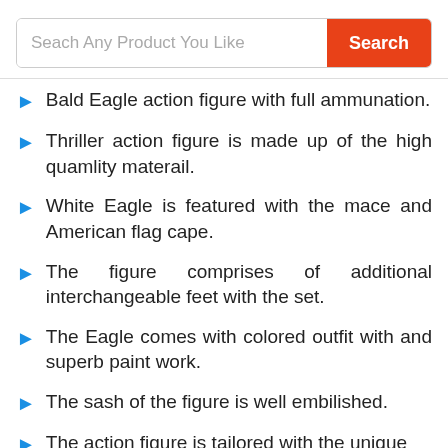[Figure (screenshot): Search bar with placeholder text 'Seach Any Product You Like' and an orange Search button]
Bald Eagle action figure with full ammunation.
Thriller action figure is made up of the high quamlity materail.
White Eagle is featured with the mace and American flag cape.
The figure comprises of additional interchangeable feet with the set.
The Eagle comes with colored outfit with and superb paint work.
The sash of the figure is well embilished.
The action figure is tailored with the unique